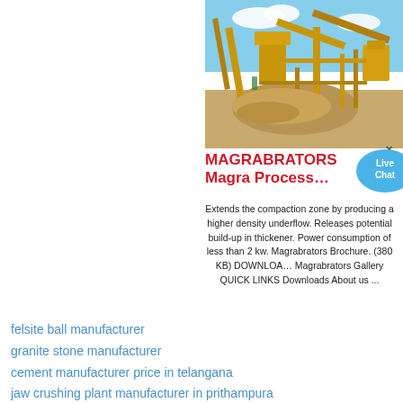[Figure (photo): Yellow industrial quarry crushing/processing plant with conveyor belts and machinery on a sandy/gravel site under blue sky]
MAGRABRATORS
Magra Process…
Extends the compaction zone by producing a higher density underflow. Releases potential build-up in thickener. Power consumption of less than 2 kw. Magrabrators Brochure. (380 KB) DOWNLOA… Magrabrators Gallery QUICK LINKS Downloads About us ...
felsite ball manufacturer
granite stone manufacturer
cement manufacturer price in telangana
jaw crushing plant manufacturer in prithampura